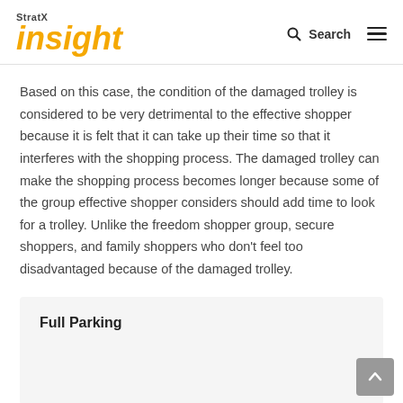StratX Insight — Search Menu
Based on this case, the condition of the damaged trolley is considered to be very detrimental to the effective shopper because it is felt that it can take up their time so that it interferes with the shopping process. The damaged trolley can make the shopping process becomes longer because some of the group effective shopper considers should add time to look for a trolley. Unlike the freedom shopper group, secure shoppers, and family shoppers who don't feel too disadvantaged because of the damaged trolley.
Full Parking
Effective Shopper considers that the state of the parking lot